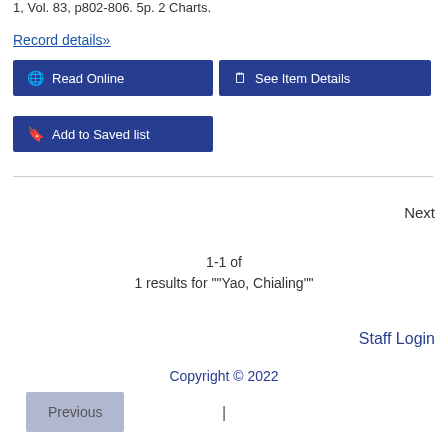1, Vol. 83, p802-806. 5p. 2 Charts.
Record details»
🌐 Read Online
🗒 See Item Details
🔖 Add to Saved list
Previous
Next
1-1 of
1 results for ""Yao, Chialing""
Staff Login
Copyright © 2022
|